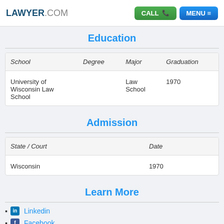LAWYER.COM
Education
| School | Degree | Major | Graduation |
| --- | --- | --- | --- |
| University of Wisconsin Law School |  | Law School | 1970 |
Admission
| State / Court | Date |
| --- | --- |
| Wisconsin | 1970 |
Learn More
Linkedin
Facebook